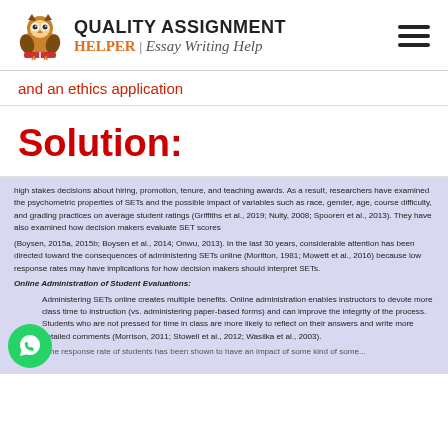QUALITY ASSIGNMENT HELPER | Essay Writing Help
and an ethics application
Solution:
high stakes decisions about hiring, promotion, tenure, and teaching awards. As a result, researchers have examined the psychometric properties of SETs and the possible impact of variables such as race, gender, age, course difficulty, and grading practices on average student ratings (Griffiths et al., 2019; Nulty, 2008; Spooren et al., 2013). They have also examined how decision makers evaluate SET scores (Boysen, 2015a, 2015b; Boysen et al., 2014; Onwu, 2013). In the last 30 years, considerable attention has been directed toward the consequences of administering SETs online (Moritton, 1981; Mowett et al., 2016) because low response rates may have implications for how decision makers should interpret SETs. Online Administration of Student Evaluations: Administering SETs online creates multiple benefits. Online administration enables instructors to devote more class time to instruction (vs. administering paper-based forms) and can improve the integrity of the process. Students who are not pressed for time in class are more likely to reflect on their answers and write more detailed comments (Morrison, 2011; Stowell et al., 2012; Wasilka et al., 2003).